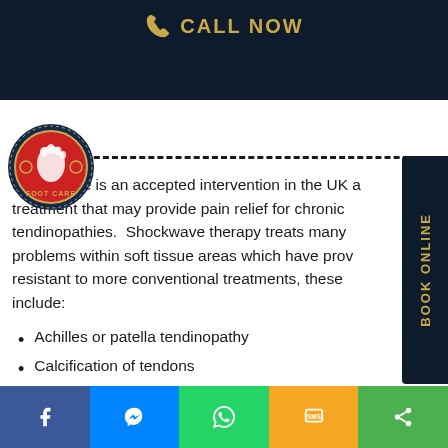CALL NOW
[Figure (logo): Foot Care clinic logo — circular badge with red globe and foot silhouette, dark navy border, text FOOT CARE at bottom]
Shockwave is an accepted intervention in the UK a treatment that may provide pain relief for chronic tendinopathies. Shockwave therapy treats many problems within soft tissue areas which have proved resistant to more conventional treatments, these include:
Achilles or patella tendinopathy
Calcification of tendons